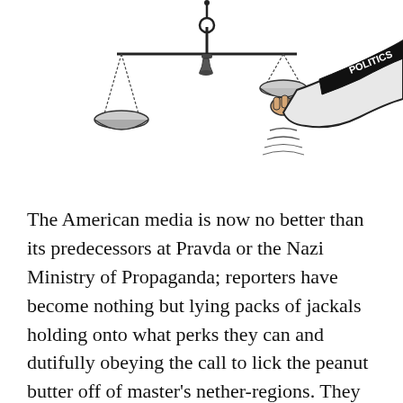[Figure (illustration): Editorial cartoon showing scales of justice — one pan hanging low, the other tilted up and being pushed down by a large arm wearing a sleeve labeled 'POLITICS' in white text on black. The scales hang from a decorative balance beam. The image is drawn in black and white with some gray shading.]
The American media is now no better than its predecessors at Pravda or the Nazi Ministry of Propaganda; reporters have become nothing but lying packs of jackals holding onto what perks they can and dutifully obeying the call to lick the peanut butter off of master's nether-regions. They sit when they should hunt, roll over when they should bark, and play dead whenever